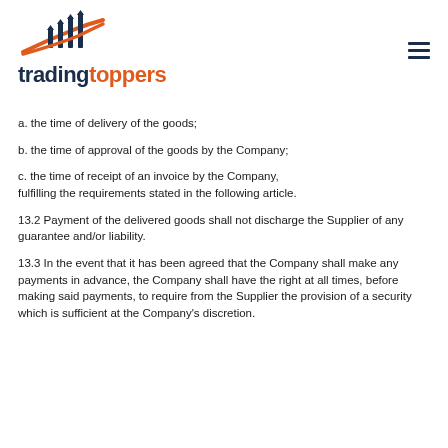[Figure (logo): Trading Toppers logo with arrow/chart icon above the text 'tradingtoppers' in dark navy and orange]
a. the time of delivery of the goods;
b. the time of approval of the goods by the Company;
c. the time of receipt of an invoice by the Company, fulfilling the requirements stated in the following article.
13.2 Payment of the delivered goods shall not discharge the Supplier of any guarantee and/or liability.
13.3 In the event that it has been agreed that the Company shall make any payments in advance, the Company shall have the right at all times, before making said payments, to require from the Supplier the provision of a security which is sufficient at the Company's discretion.